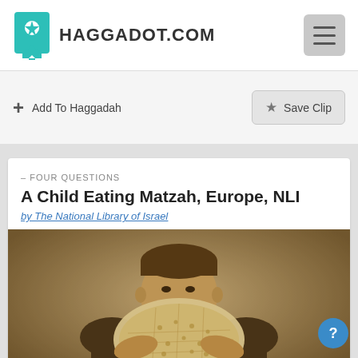HAGGADOT.COM
Add To Haggadah
Save Clip
– FOUR QUESTIONS
A Child Eating Matzah, Europe, NLI
by The National Library of Israel
[Figure (photo): Sepia-toned vintage photograph of a young boy in a dark jacket holding and eating a large piece of matzah (unleavened bread), covering most of his face. The image has a warm brown tone typical of early 20th century photography.]